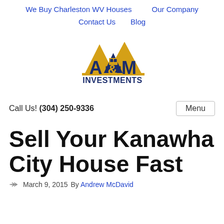We Buy Charleston WV Houses    Our Company    Contact Us    Blog
[Figure (logo): A&M Investments logo with gold and navy house/mountain shape and text]
Call Us! (304) 250-9336
Sell Your Kanawha City House Fast
March 9, 2015  By Andrew McDavid